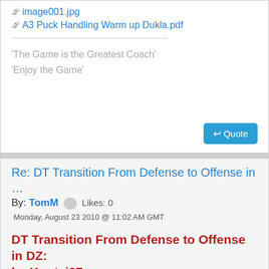image001.jpg
A3 Puck Handling Warm up Dukla.pdf
'The Game is the Greatest Coach'
'Enjoy the Game'
Quote
Re: DT Transition From Defense to Offense in …
By: TomM  Likes: 0
Monday, August 23 2010 @ 11:02 AM GMT
DT Transition From Defense to Offense in DZ: by Koutsi97
Here's one transition game for half ice to teach transition from defense to offense in DZ: